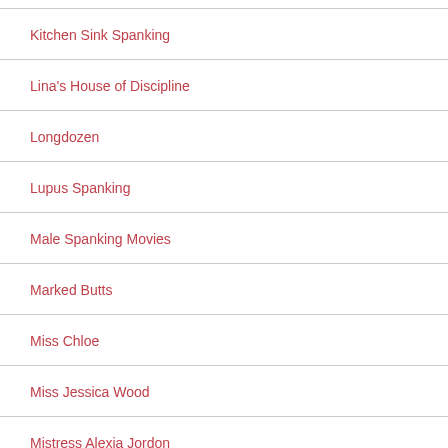Kitchen Sink Spanking
Lina's House of Discipline
Longdozen
Lupus Spanking
Male Spanking Movies
Marked Butts
Miss Chloe
Miss Jessica Wood
Mistress Alexia Jordon